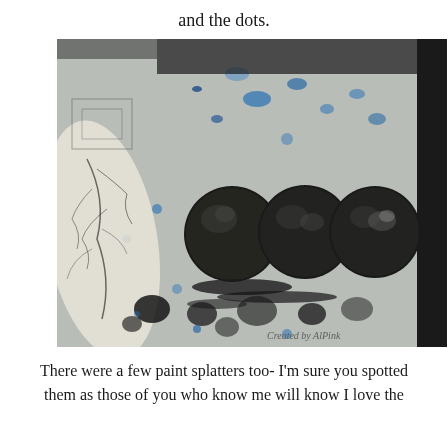and the dots.
[Figure (photo): Close-up photograph of a mixed-media artwork showing three large dark spherical paint blobs/dots in the center, surrounded by paint splatters in blue and black, with a crackled white leaf or wing shape on the left, various textures, and a black border on the right. A watermark reads 'Created by AlPink'.]
There were a few paint splatters too- I'm sure you spotted them as those of you who know me will know I love the